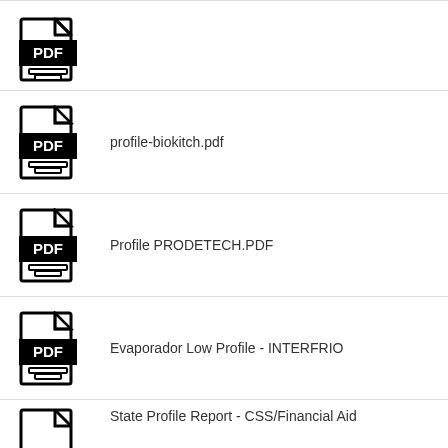(PDF icon, no label)
profile-biokitch.pdf
Profile PRODETECH.PDF
Evaporador Low Profile - INTERFRIO
State Profile Report - CSS/Financial Aid